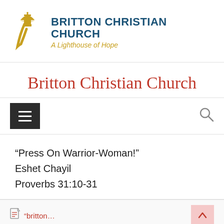[Figure (logo): Britton Christian Church logo with lighthouse/dome icon in gold and text reading 'BRITTON CHRISTIAN CHURCH — A Lighthouse of Hope']
Britton Christian Church
[Figure (screenshot): Navigation bar with hamburger menu button (dark background, three horizontal lines) on left and search icon on right]
“Press On Warrior-Woman!” Eshet Chayil Proverbs 31:10-31
[Figure (screenshot): Bottom bar with document icon and link text in red, and a scroll-to-top button with arrow]